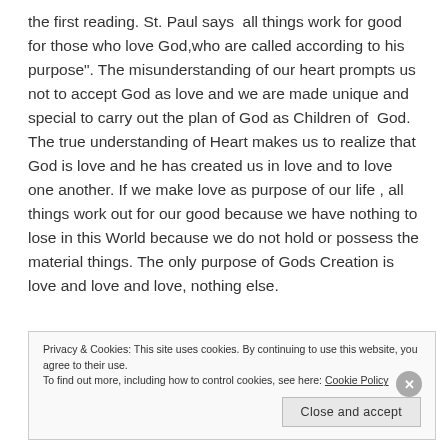the first reading. St. Paul says all things work for good for those who love God,who are called according to his purpose". The misunderstanding of our heart prompts us not to accept God as love and we are made unique and special to carry out the plan of God as Children of God. The true understanding of Heart makes us to realize that God is love and he has created us in love and to love one another. If we make love as purpose of our life , all things work out for our good because we have nothing to lose in this World because we do not hold or possess the material things. The only purpose of Gods Creation is love and love and love, nothing else.
Privacy & Cookies: This site uses cookies. By continuing to use this website, you agree to their use.
To find out more, including how to control cookies, see here: Cookie Policy
Close and accept